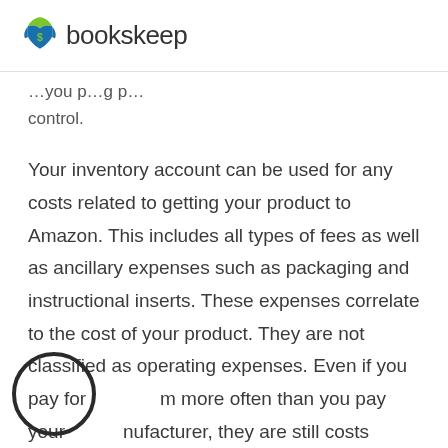bookskeep
…you p…g p…
control.
Your inventory account can be used for any costs related to getting your product to Amazon. This includes all types of fees as well as ancillary expenses such as packaging and instructional inserts. These expenses correlate to the cost of your product. They are not classified as operating expenses. Even if you pay for them more often than you pay your manufacturer, they are still costs…